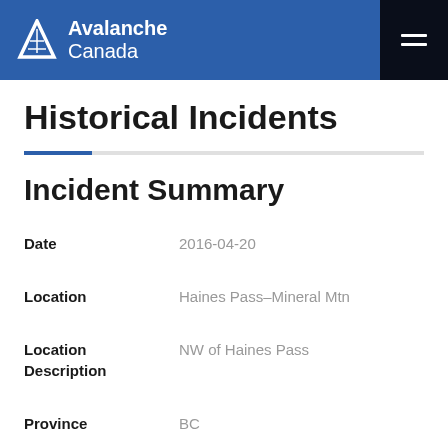Avalanche Canada
Historical Incidents
Incident Summary
| Field | Value |
| --- | --- |
| Date | 2016-04-20 |
| Location | Haines Pass–Mineral Mtn |
| Location Description | NW of Haines Pass |
| Province | BC |
| Coordinates | −136.65981 °, 59.54870 ° |